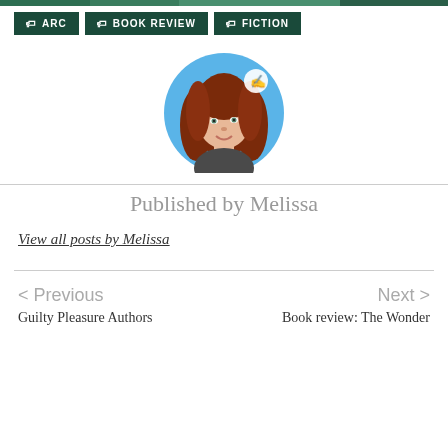ARC | BOOK REVIEW | FICTION
[Figure (illustration): Circular avatar illustration of a woman with long red/auburn hair, wearing a dark shirt, on a blue background. A small hand with pen icon is visible at top right of the circle.]
Published by Melissa
View all posts by Melissa
< Previous
Next >
Guilty Pleasure Authors
Book review: The Wonder